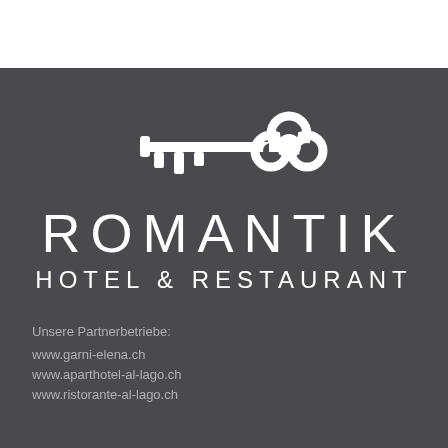[Figure (logo): Romantik Hotel & Restaurant logo: white key icon above the text ROMANTIK in large spaced letters, followed by HOTEL & RESTAURANT, all on a dark grey background]
Unsere Partnerbetriebe:
www.garni-elena.ch
www.aparthotel-al-lago.ch
www.ristorante-al-lago.ch